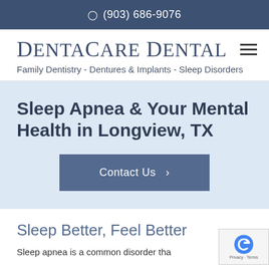(903) 686-9076
DentaCare Dental
Family Dentistry - Dentures & Implants - Sleep Disorders
Sleep Apnea & Your Mental Health in Longview, TX
Contact Us
Sleep Better, Feel Better
Sleep apnea is a common disorder tha